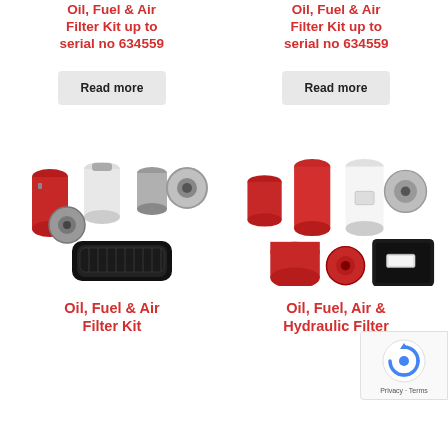Oil, Fuel & Air Filter Kit up to serial no 634559
Oil, Fuel & Air Filter Kit up to serial no 634559
Read more
Read more
[Figure (photo): Group of oil, fuel and air filters for filter kit up to serial no 634559 - showing cylindrical red, white and metallic filters plus a rectangular flat air filter element]
[Figure (photo): Group of oil, fuel, air and hydraulic filters - showing multiple cylindrical red, white and black filters plus a black rectangular air filter housing]
Oil, Fuel & Air Filter Kit
Oil, Fuel, Air & Hydraulic Filter